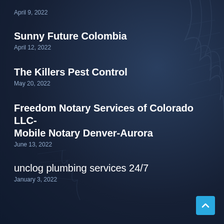April 9, 2022
Sunny Future Colombia
April 12, 2022
The Killers Pest Control
May 20, 2022
Freedom Notary Services of Colorado LLC-Mobile Notary Denver-Aurora
June 13, 2022
unclog plumbing services 24/7
January 3, 2022